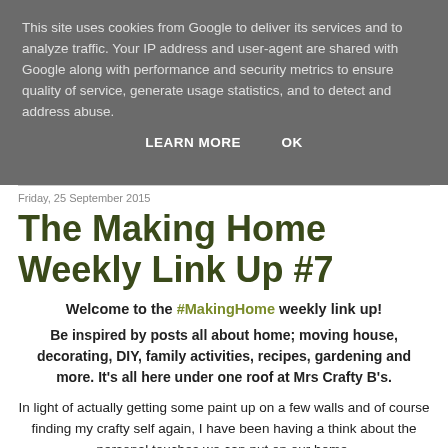This site uses cookies from Google to deliver its services and to analyze traffic. Your IP address and user-agent are shared with Google along with performance and security metrics to ensure quality of service, generate usage statistics, and to detect and address abuse.
LEARN MORE   OK
Friday, 25 September 2015
The Making Home Weekly Link Up #7
Welcome to the #MakingHome weekly link up!
Be inspired by posts all about home; moving house, decorating, DIY, family activities, recipes, gardening and more. It's all here under one roof at Mrs Crafty B's.
In light of actually getting some paint up on a few walls and of course finding my crafty self again, I have been having a think about the personal touches we can put on our home.